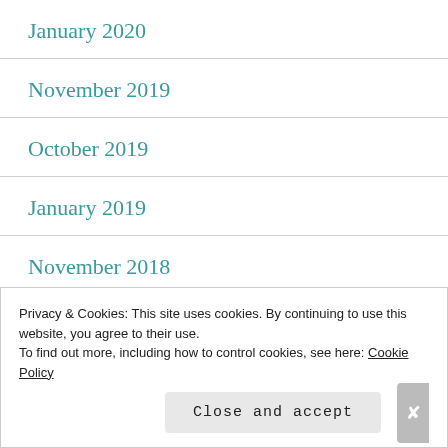January 2020
November 2019
October 2019
January 2019
November 2018
October 2018
September 2018
Privacy & Cookies: This site uses cookies. By continuing to use this website, you agree to their use. To find out more, including how to control cookies, see here: Cookie Policy
Close and accept